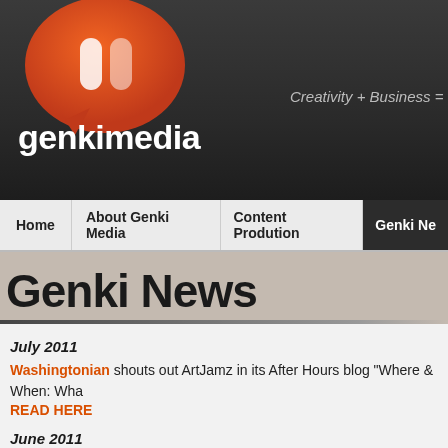[Figure (logo): Genki Media logo: orange speech bubble with white icon, text 'genkimedia' in white, tagline 'Creativity + Business = Happi...' in gray italic]
Home   About Genki Media   Content Prodution   Genki Ne...
Genki News
July 2011
Washingtonian shouts out ArtJamz in its After Hours blog "Where & When: Wha... READ HERE
June 2011
Great photos on Metromix from our Lamont Bishop Gallery sessions. READ HE...